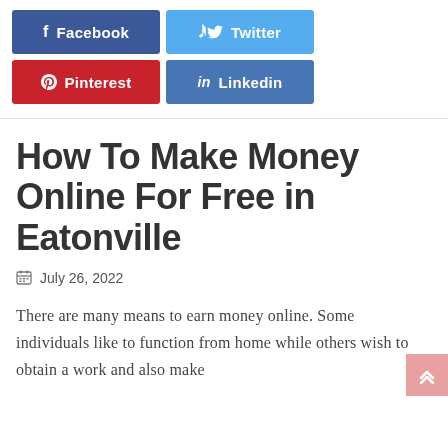[Figure (infographic): Social share buttons: Facebook (dark blue), Twitter (light blue), Pinterest (red), LinkedIn (blue)]
How To Make Money Online For Free in Eatonville
July 26, 2022
There are many means to earn money online. Some individuals like to function from home while others wish to obtain a work and also make